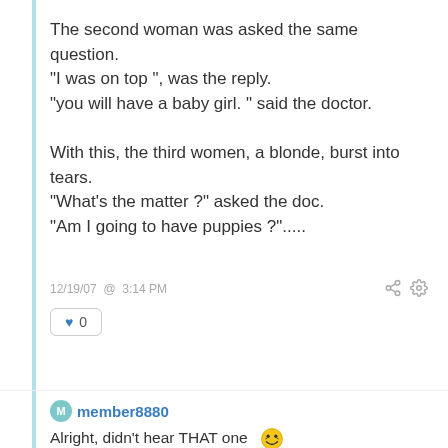The second woman was asked the same question.
"I was on top ", was the reply.
"you will have a baby girl. " said the doctor.

With this, the third women, a blonde, burst into tears.
"What's the matter ?" asked the doc.
"Am I going to have puppies ?"…..
12/19/07 @ 3:14 PM
♥ 0
member8880
Alright, didn't hear THAT one 😁
Again I say 'Taz you are SOOOOO BAD' 😁